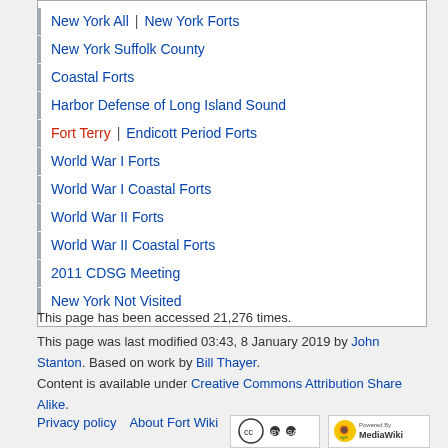New York All | New York Forts
New York Suffolk County
Coastal Forts
Harbor Defense of Long Island Sound
Fort Terry | Endicott Period Forts
World War I Forts
World War I Coastal Forts
World War II Forts
World War II Coastal Forts
2011 CDSG Meeting
New York Not Visited
This page has been accessed 21,276 times.
This page was last modified 03:43, 8 January 2019 by John Stanton. Based on work by Bill Thayer.
Content is available under Creative Commons Attribution Share Alike.
Privacy policy   About Fort Wiki   Disclaimers